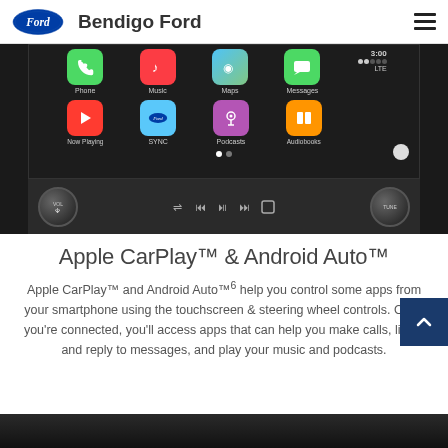Bendigo Ford
[Figure (photo): Ford vehicle infotainment touchscreen displaying Apple CarPlay interface with icons: Phone, Music, Maps, Messages, Now Playing, SYNC, Podcasts, Audiobooks. Time shown as 3:00 LTE. Below the screen are physical controls including VOL and TUNE knobs and media buttons.]
Apple CarPlay™ & Android Auto™
Apple CarPlay™ and Android Auto™⁶ help you control some apps from your smartphone using the touchscreen & steering wheel controls. Once you're connected, you'll access apps that can help you make calls, listen and reply to messages, and play your music and podcasts.
[Figure (photo): Partial view of a Ford vehicle interior, bottom of page.]